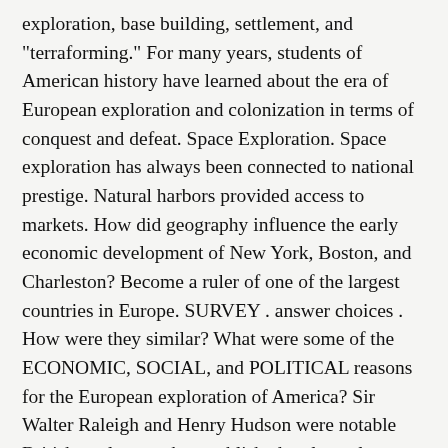exploration, base building, settlement, and "terraforming." For many years, students of American history have learned about the era of European exploration and colonization in terms of conquest and defeat. Space Exploration. Space exploration has always been connected to national prestige. Natural harbors provided access to markets. How did geography influence the early economic development of New York, Boston, and Charleston? Become a ruler of one of the largest countries in Europe. SURVEY . answer choices . How were they similar? What were some of the ECONOMIC, SOCIAL, and POLITICAL reasons for the European exploration of America? Sir Walter Raleigh and Henry Hudson were notable British explorers who established early settlements in Virginia and New York. Unless an approach is found to break this cycle of increasing costs, human exploration, commercialization, and colonization of space will likely remain unaffordable. This activity discusses colonialism in Africa. But should we do it just because we potentially can? "Economic And Religious Reasons For Exploration And Colonization" Essays and